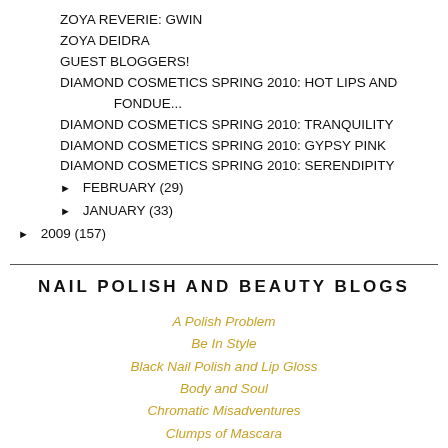ZOYA REVERIE: GWIN
ZOYA DEIDRA
GUEST BLOGGERS!
DIAMOND COSMETICS SPRING 2010: HOT LIPS AND FONDUE...
DIAMOND COSMETICS SPRING 2010: TRANQUILITY
DIAMOND COSMETICS SPRING 2010: GYPSY PINK
DIAMOND COSMETICS SPRING 2010: SERENDIPITY
► FEBRUARY (29)
► JANUARY (33)
► 2009 (157)
NAIL POLISH AND BEAUTY BLOGS
A Polish Problem
Be In Style
Black Nail Polish and Lip Gloss
Body and Soul
Chromatic Misadventures
Clumps of Mascara
Concrete and Nail Polish